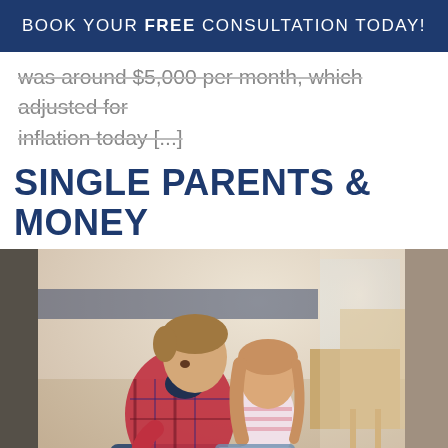BOOK YOUR FREE CONSULTATION TODAY!
was around $5,000 per month, which adjusted for inflation today [...]
SINGLE PARENTS & MONEY
[Figure (photo): A father sitting on the floor with his young daughter, reading a book together in a child's bedroom. The room has a desk and chair in the background with natural light from a window.]